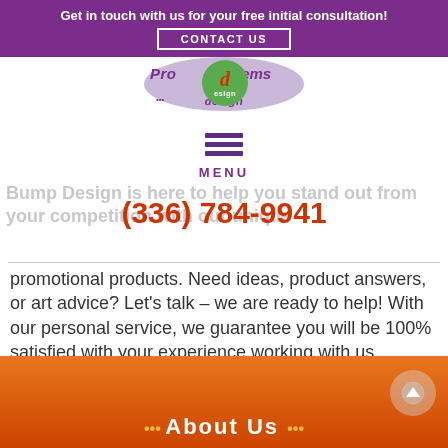Get in touch with us for your free initial consultation!
CONTACT US
[Figure (logo): Bump Design / Promo Items logo: oval lavender shape with 'd design' branding and green circle]
MENU
(336) 784-9941
Bump Design is here to help you stand out from your competition with our unique promotional products. Need ideas, product answers, or art advice? Let’s talk – we are ready to help! With our personal service, we guarantee you will be 100% satisfied with your experience working with us.
••• About Us •••